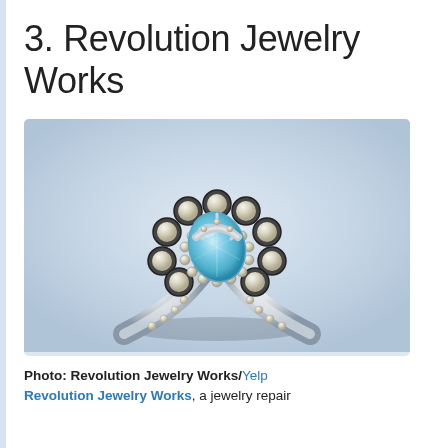3. Revolution Jewelry Works
[Figure (photo): A silver ring with a pear-shaped light blue aquamarine center stone, surrounded by a halo of small diamonds and larger round diamond accents set in dark metal bezels, with diamond-studded band shoulders, photographed against a light gray background.]
Photo: Revolution Jewelry Works/Yelp
Revolution Jewelry Works, a jewelry repair